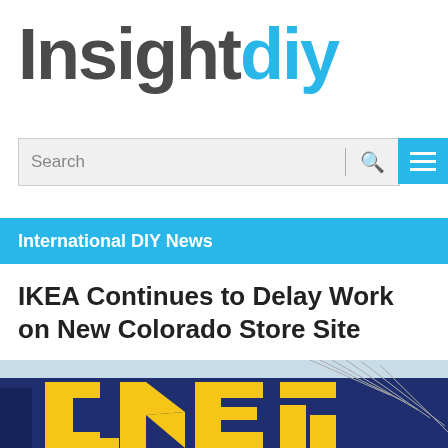[Figure (logo): Insightdiy logo with 'Insight' in dark grey and 'diy' in cyan/blue]
[Figure (screenshot): Search bar with placeholder text 'Search', divider line, and cyan magnifying glass icon on grey background]
[Figure (screenshot): Cyan hamburger menu button with three white horizontal lines]
International DIY News
IKEA Continues to Delay Work on New Colorado Store Site
[Figure (photo): Close-up photo of an IKEA store exterior showing yellow IKEA letters on dark blue wall with metal cable fixtures]